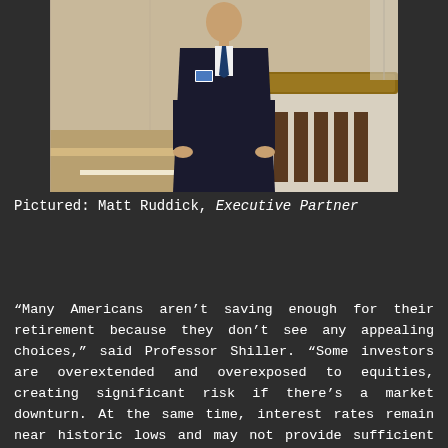[Figure (photo): A man in a dark suit standing at a podium/lectern in what appears to be a formal venue with marble walls and columns. He is wearing a conference badge.]
Pictured: Matt Ruddick, Executive Partner
“Many Americans aren't saving enough for their retirement because they don't see any appealing choices,” said Professor Shiller. “Some investors are overextended and overexposed to equities, creating significant risk if there's a market downturn. At the same time, interest rates remain near historic lows and may not provide sufficient income for retirement. New innovations are needed.”